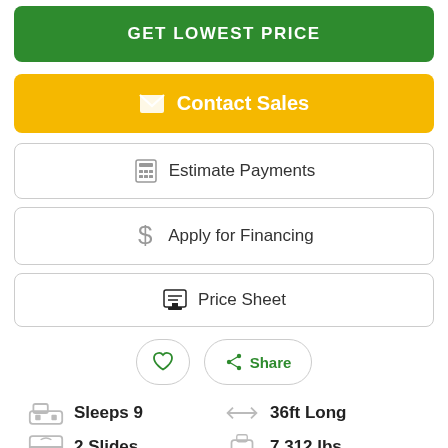GET LOWEST PRICE
✉ Contact Sales
🖩 Estimate Payments
$ Apply for Financing
🖨 Price Sheet
♡  Share
Sleeps 9
36ft Long
2 Slides
7,312 lbs